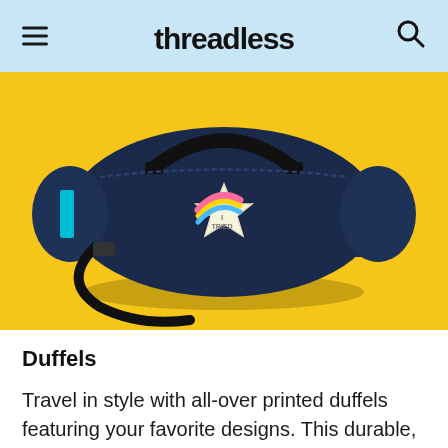Threadless — navigation header with menu and search icons
[Figure (photo): A navy blue duffel bag with a shooting star patch that reads 'I TRIED', placed on a bright yellow background. The bag has black handles and straps.]
Duffels
Travel in style with all-over printed duffels featuring your favorite designs. This durable,